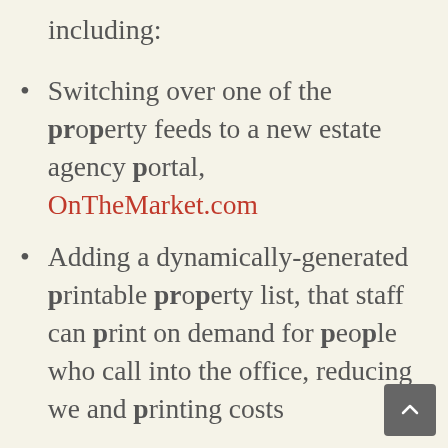including:
Switching over one of the property feeds to a new estate agency portal, OnTheMarket.com
Adding a dynamically-generated printable property list, that staff can print on demand for people who call into the office, reducing w[aste] and printing costs